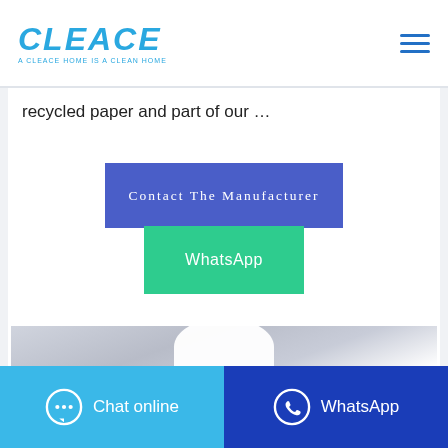CLEACE — A CLEACE HOME IS A CLEAN HOME
recycled paper and part of our …
Contact The Manufacturer
WhatsApp
[Figure (photo): Product photo showing a white rounded object against a grey gradient background]
Chat online | WhatsApp